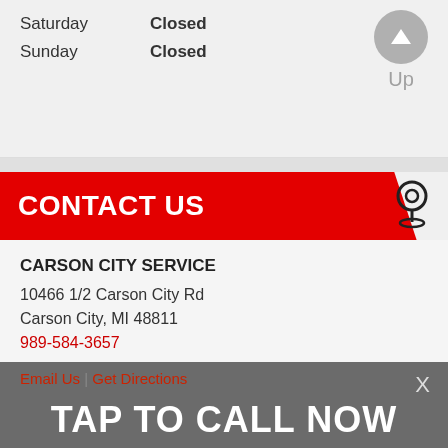| Day | Status |
| --- | --- |
| Saturday | Closed |
| Sunday | Closed |
CONTACT US
CARSON CITY SERVICE
10466 1/2 Carson City Rd
Carson City, MI 48811
989-584-3657
Email Us | Get Directions
TAP TO CALL NOW
989-584-3657